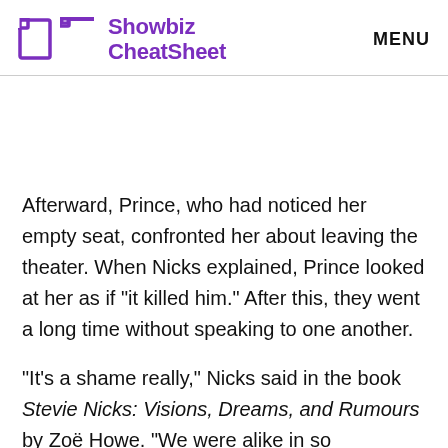Showbiz CheatSheet  MENU
Afterward, Prince, who had noticed her empty seat, confronted her about leaving the theater. When Nicks explained, Prince looked at her as if “it killed him.” After this, they went a long time without speaking to one another.
“It’s a shame really,” Nicks said in the book Stevie Nicks: Visions, Dreams, and Rumours by Zoë Howe. “We were alike in so